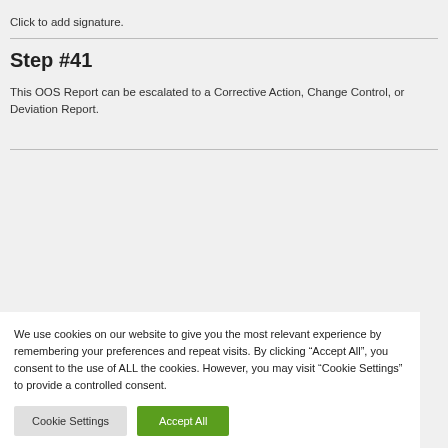Click to add signature.
Step #41
This OOS Report can be escalated to a Corrective Action, Change Control, or Deviation Report.
We use cookies on our website to give you the most relevant experience by remembering your preferences and repeat visits. By clicking “Accept All”, you consent to the use of ALL the cookies. However, you may visit “Cookie Settings” to provide a controlled consent.